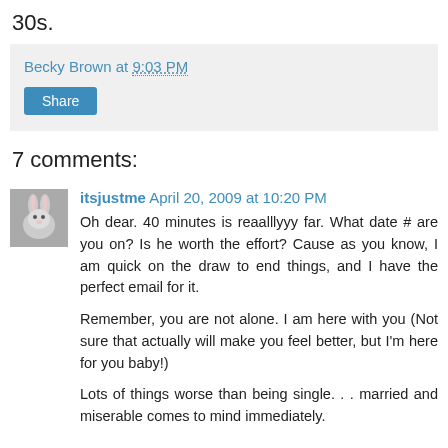30s.
Becky Brown at 9:03 PM
Share
7 comments:
itsjustme April 20, 2009 at 10:20 PM
Oh dear. 40 minutes is reaalllyyy far. What date # are you on? Is he worth the effort? Cause as you know, I am quick on the draw to end things, and I have the perfect email for it.
Remember, you are not alone. I am here with you (Not sure that actually will make you feel better, but I'm here for you baby!)
Lots of things worse than being single. . . married and miserable comes to mind immediately.